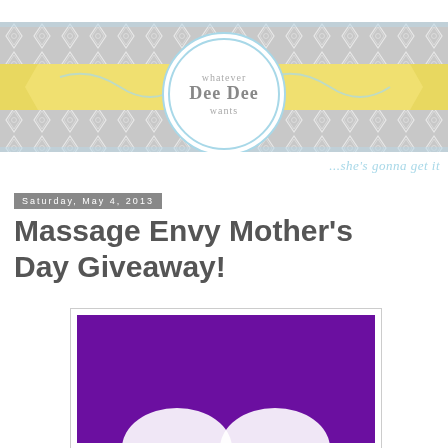[Figure (logo): Blog header for 'Whatever Dee Dee Wants' blog with moroccan tile pattern background, yellow ribbon banner, circular logo with text 'whatever Dee Dee wants', and tagline '...she's gonna get it']
Saturday, May 4, 2013
Massage Envy Mother's Day Giveaway!
[Figure (photo): Purple background image partially visible, cropped at bottom of page]